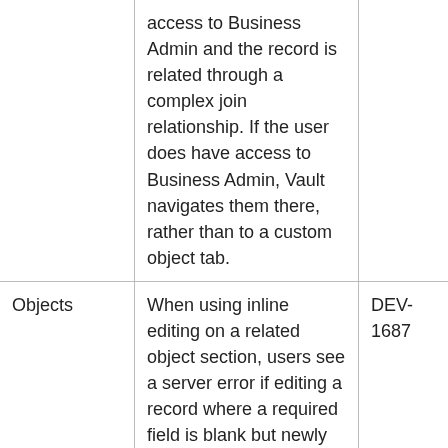|  | access to Business Admin and the record is related through a complex join relationship. If the user does have access to Business Admin, Vault navigates them there, rather than to a custom object tab. |  |
| Objects | When using inline editing on a related object section, users see a server error if editing a record where a required field is blank but newly configured as required. Vault should allow the user to save the inline edit for another field, even if the required field is blank. | DEV-1687 |